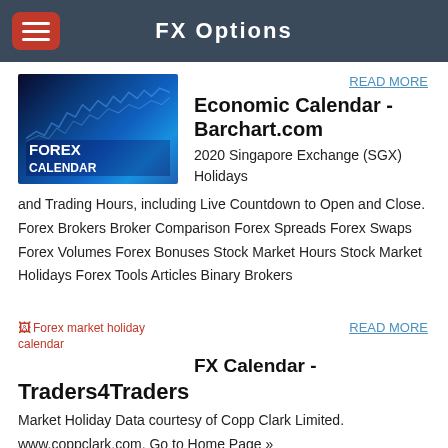FX Options
[Figure (photo): Laptop showing Forex Calendar chart on blue-lit screen with 'FOREX CALENDAR' text overlay]
READ MORE
Economic Calendar - Barchart.com
2020 Singapore Exchange (SGX) Holidays and Trading Hours, including Live Countdown to Open and Close. Forex Brokers Broker Comparison Forex Spreads Forex Swaps Forex Volumes Forex Bonuses Stock Market Hours Stock Market Holidays Forex Tools Articles Binary Brokers
[Figure (photo): Broken image placeholder for Forex market holiday calendar]
READ MORE
FX Calendar - Traders4Traders
Market Holiday Data courtesy of Copp Clark Limited. www.coppclark.com. Go to Home Page »